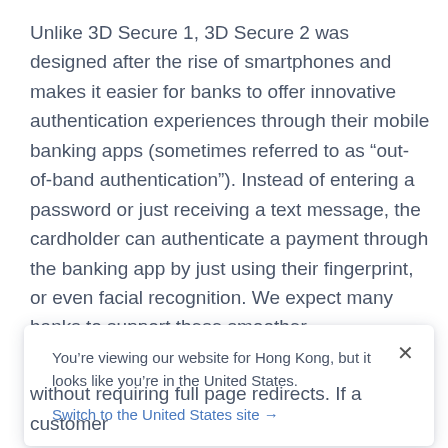Unlike 3D Secure 1, 3D Secure 2 was designed after the rise of smartphones and makes it easier for banks to offer innovative authentication experiences through their mobile banking apps (sometimes referred to as “out-of-band authentication”). Instead of entering a password or just receiving a text message, the cardholder can authenticate a payment through the banking app by just using their fingerprint, or even facial recognition. We expect many banks to support these smoother authentication experiences with 3D Secure 2.
You’re viewing our website for Hong Kong, but it looks like you’re in the United States.
Switch to the United States site →
without requiring full page redirects. If a customer